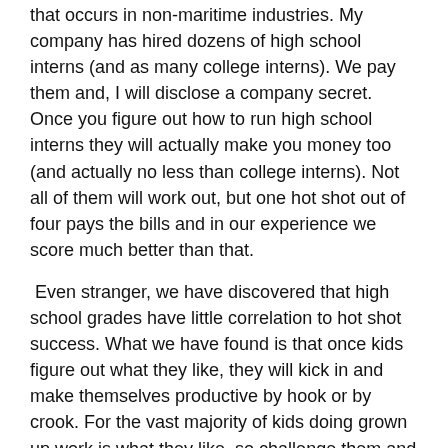that occurs in non-maritime industries. My company has hired dozens of high school interns (and as many college interns). We pay them and, I will disclose a company secret. Once you figure out how to run high school interns they will actually make you money too (and actually no less than college interns). Not all of them will work out, but one hot shot out of four pays the bills and in our experience we score much better than that.
Even stranger, we have discovered that high school grades have little correlation to hot shot success. What we have found is that once kids figure out what they like, they will kick in and make themselves productive by hook or by crook. For the vast majority of kids doing grown up work is what they like, so challenge them and they will reward you and our industry.
In my next column I will provide further guidance on running successful high school engineering intern programs.
For each column I write, MREN has agreed to make a small donation to an organization of our choice. For this column, I